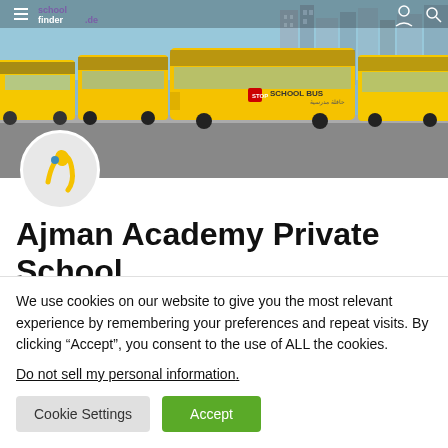[Figure (photo): Hero photo showing a row of yellow school buses parked in front of a city skyline with tall glass buildings. The schoolfinder.de logo and navigation icons appear in the header overlay.]
[Figure (logo): Ajman Academy Private School circular logo showing a stylized yellow and blue figure/letter on grey background]
Ajman Academy Private School
We use cookies on our website to give you the most relevant experience by remembering your preferences and repeat visits. By clicking “Accept”, you consent to the use of ALL the cookies.
Do not sell my personal information.